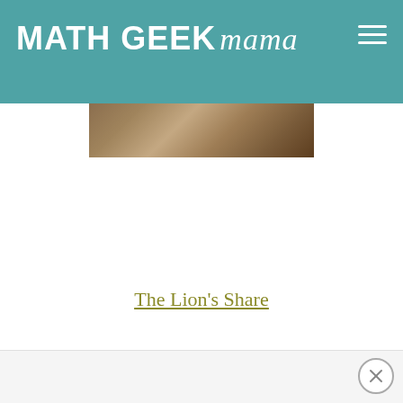MATH GEEK mama
[Figure (photo): Partial view of a book cover with brown/tan earthy tones, appears to be 'The Lion's Share' book]
The Lion's Share
[Figure (other): Bottom advertisement bar with close button (X)]